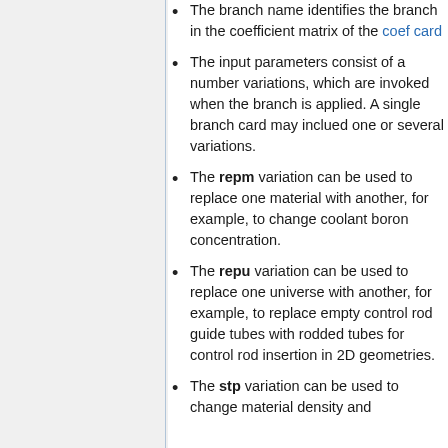The branch name identifies the branch in the coefficient matrix of the coef card
The input parameters consist of a number variations, which are invoked when the branch is applied. A single branch card may inclued one or several variations.
The repm variation can be used to replace one material with another, for example, to change coolant boron concentration.
The repu variation can be used to replace one universe with another, for example, to replace empty control rod guide tubes with rodded tubes for control rod insertion in 2D geometries.
The stp variation can be used to change material density and